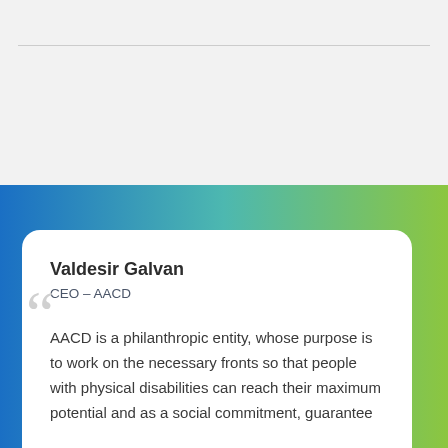Valdesir Galvan
CEO – AACD
AACD is a philanthropic entity, whose purpose is to work on the necessary fronts so that people with physical disabilities can reach their maximum potential and as a social commitment, guarantee and expand services for people with physical disabilities...